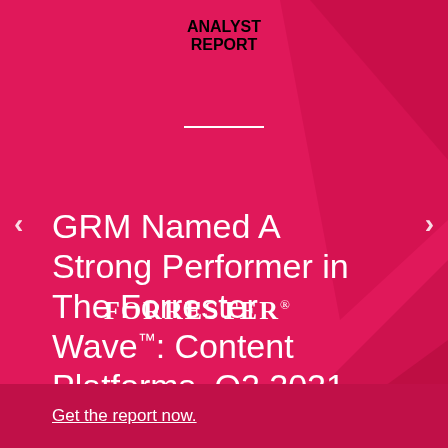ANALYST REPORT
[Figure (logo): FORRESTER logo in white serif font with registered trademark symbol]
GRM Named A Strong Performer in The Forrester Wave™: Content Platforms, Q2 2021
Get the report now.